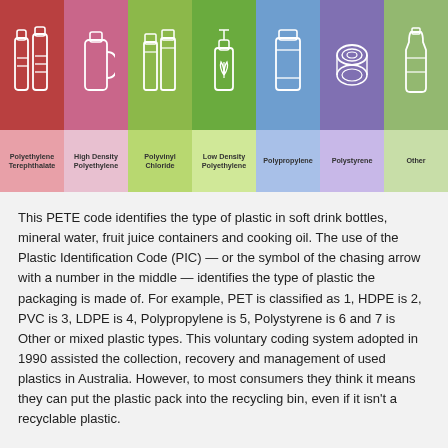[Figure (infographic): Seven plastic types shown as colored column blocks with white line icons on top and label names below. Colors: red (PET bottles), pink (HDPE jug), olive-green (PVC canisters), green (LDPE spray), steel-blue (Polypropylene canister), purple (Polystyrene rings), sage-green (Other bottle). Labels: Polyethylene Terephthalate, High Density Polyethylene, Polyvinyl Chloride, Low Density Polyethylene, Polypropylene, Polystyrene, Other.]
This PETE code identifies the type of plastic in soft drink bottles, mineral water, fruit juice containers and cooking oil. The use of the Plastic Identification Code (PIC) — or the symbol of the chasing arrow with a number in the middle — identifies the type of plastic the packaging is made of. For example, PET is classified as 1, HDPE is 2, PVC is 3, LDPE is 4, Polypropylene is 5, Polystyrene is 6 and 7 is Other or mixed plastic types. This voluntary coding system adopted in 1990 assisted the collection, recovery and management of used plastics in Australia. However, to most consumers they think it means they can put the plastic pack into the recycling bin, even if it isn't a recyclable plastic.